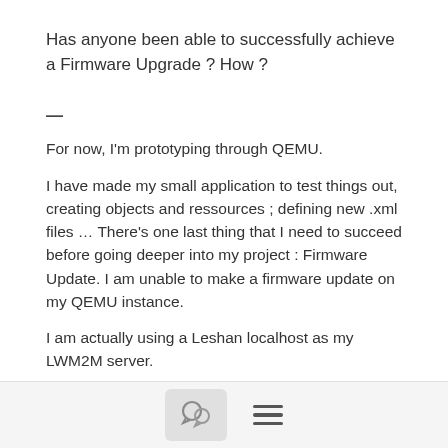Has anyone been able to successfully achieve a Firmware Upgrade ? How ?
—
For now, I'm prototyping through QEMU.
I have made my small application to test things out, creating objects and ressources ; defining new .xml files … There's one last thing that I need to succeed before going deeper into my project : Firmware Update. I am unable to make a firmware update on my QEMU instance.
I am actually using a Leshan localhost as my LWM2M server.
I've tried several things :
Pushing using 5/0/0 :
File above 200ko can't be pushed without an issue occurring (packets stop downloading and 5/0/0…